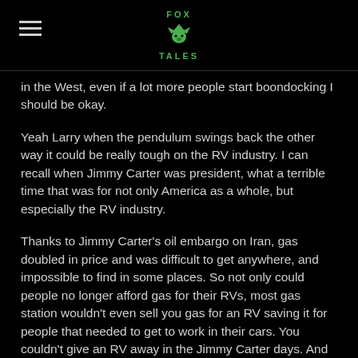FOX TALES
in the West, even if a lot more people start boondocking I should be okay.
Yeah Larry when the pendulum swings back the other way it could be really tough on the RV industry. I can recall when Jimmy Carter was president, what a terrible time that was for not only America as a whole, but especially the RV industry.
Thanks to Jimmy Carter's oil embargo on Iran, gas doubled in price and was difficult to get anywhere, and impossible to find in some places. So not only could people no longer afford gas for their RVs, most gas station wouldn't even sell you gas for an RV saving it for people that needed to get to work in their cars. You couldn't give an RV away in the Jimmy Carter days. And unfortunately I can see a lot of the miserable Jimmy Carter days of dithering and incompetence in the current administration.